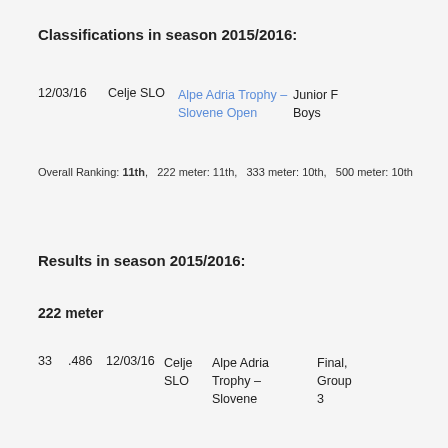Classifications in season 2015/2016:
12/03/16   Celje SLO   Alpe Adria Trophy – Slovene Open   Junior F Boys
Overall Ranking: 11th,   222 meter: 11th,   333 meter: 10th,   500 meter: 10th
Results in season 2015/2016:
222 meter
33   .486   12/03/16   Celje SLO   Alpe Adria Trophy – Slovene   Final, Group 3